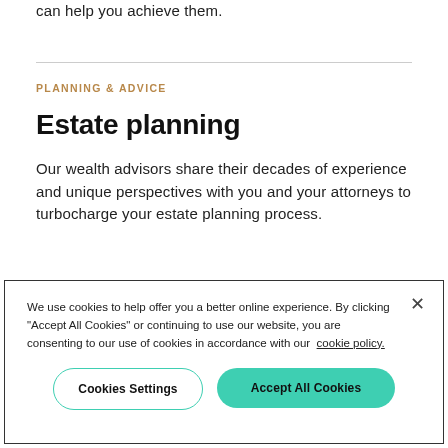can help you achieve them.
PLANNING & ADVICE
Estate planning
Our wealth advisors share their decades of experience and unique perspectives with you and your attorneys to turbocharge your estate planning process.
We use cookies to help offer you a better online experience. By clicking "Accept All Cookies" or continuing to use our website, you are consenting to our use of cookies in accordance with our cookie policy.